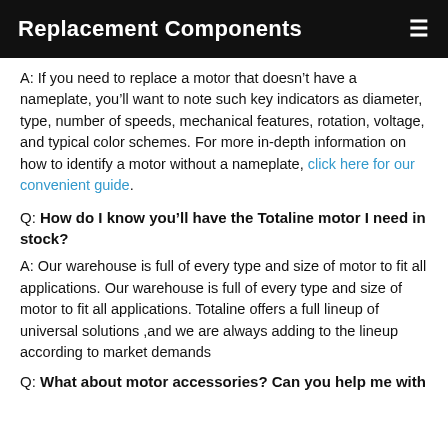Replacement Components
A: If you need to replace a motor that doesn’t have a nameplate, you’ll want to note such key indicators as diameter, type, number of speeds, mechanical features, rotation, voltage, and typical color schemes. For more in-depth information on how to identify a motor without a nameplate, click here for our convenient guide.
Q: How do I know you’ll have the Totaline motor I need in stock?
A: Our warehouse is full of every type and size of motor to fit all applications. Our warehouse is full of every type and size of motor to fit all applications. Totaline offers a full lineup of universal solutions ,and we are always adding to the lineup according to market demands
Q: What about motor accessories? Can you help me with